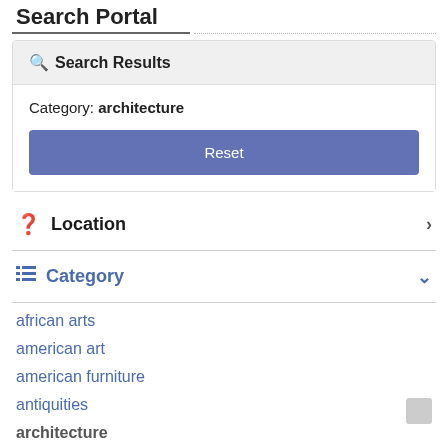Search Portal
Search Results
Category: architecture
Reset
Location
Category
african arts
american art
american furniture
antiquities
architecture